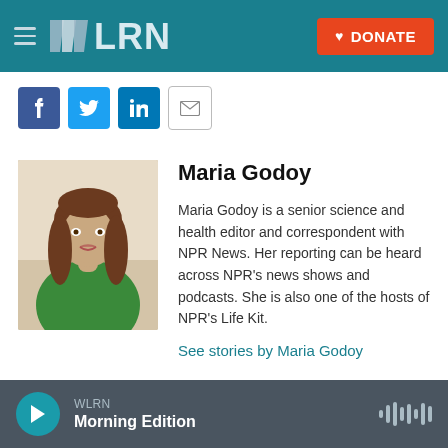WLRN | DONATE
[Figure (logo): WLRN radio station logo in white/silver on teal header bar]
[Figure (infographic): Social share buttons: Facebook, Twitter, LinkedIn, Email]
[Figure (photo): Portrait photo of Maria Godoy, a woman with long brown hair wearing a green top]
Maria Godoy
Maria Godoy is a senior science and health editor and correspondent with NPR News. Her reporting can be heard across NPR's news shows and podcasts. She is also one of the hosts of NPR's Life Kit.
See stories by Maria Godoy
WLRN Morning Edition